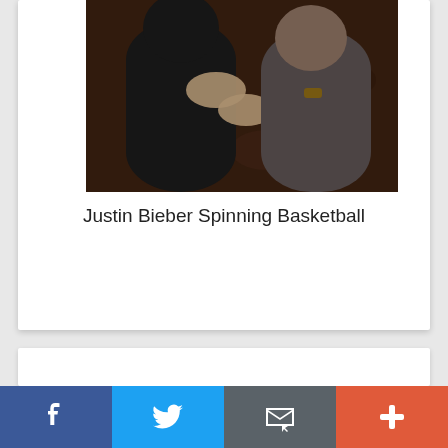[Figure (photo): Photo of two people sitting on a dark leather couch, one in a black outfit, partially cropped at top]
Justin Bieber Spinning Basketball
[Figure (other): White card area below caption, appears to be an advertisement or empty content block]
[Figure (infographic): Social share bar with four buttons: Facebook (blue), Twitter (light blue), Email (grey), More/Plus (orange-red)]